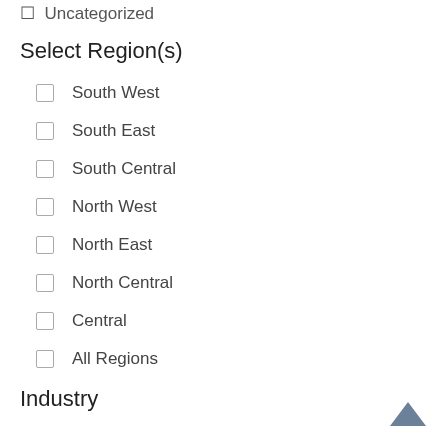Uncategorized
Select Region(s)
South West
South East
South Central
North West
North East
North Central
Central
All Regions
Industry
Real Estate Professionals
Housing Counselors
Builders